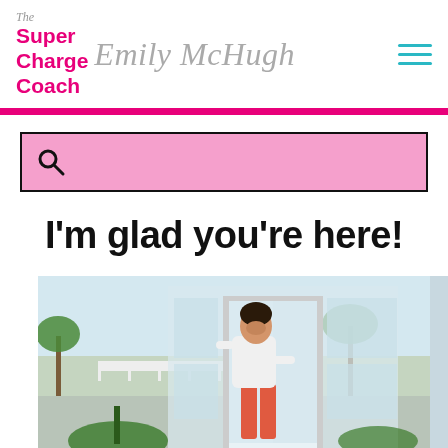The Super Charge Coach Emily McHugh
[Figure (other): Pink search bar with magnifying glass icon]
I'm glad you're here!
[Figure (photo): A woman in white top and coral pants smiling and opening a glass door, with palm trees and a parking lot visible in the background]